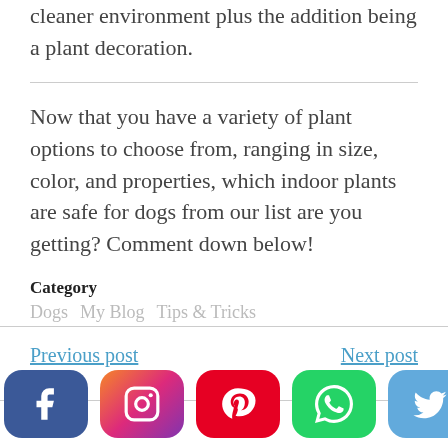cleaner environment plus the addition being a plant decoration.
Now that you have a variety of plant options to choose from, ranging in size, color, and properties, which indoor plants are safe for dogs from our list are you getting? Comment down below!
Category
Dogs  My Blog  Tips & Tricks
Previous post
Next post
[Figure (other): Social media share buttons: Facebook, Instagram, Pinterest, WhatsApp, Twitter]